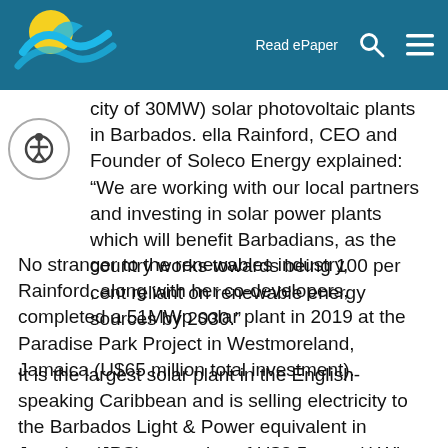Read ePaper
city of 30MW) solar photovoltaic plants in Barbados. ella Rainford, CEO and Founder of Soleco Energy explained: “We are working with our local partners and investing in solar power plants which will benefit Barbadians, as the country works towards being 100 per cent reliant on renewable energy sources by 2030.”
No stranger to the renewables industry, Rainford, along with her co-developers, completed a 51MWp solar plant in 2019 at the Paradise Park Project in Westmoreland, Jamaica (U$65 million total investment).
It is the largest solar plant in the English-speaking Caribbean and is selling electricity to the Barbados Light & Power equivalent in Jamaica (JPS), at a price of U$8.5 cents/ kWh. Rainford said: “The Paradise Park Project exemplified the potential for other emerging markets such as Barbados and is on track to exceed its target”